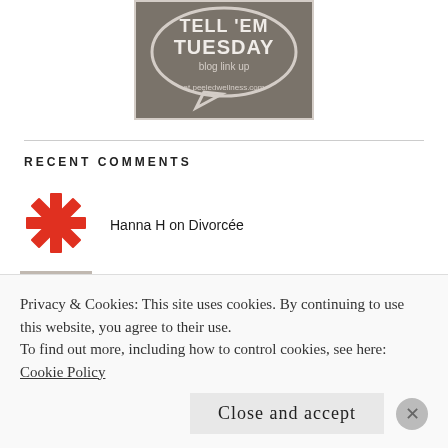[Figure (logo): Tell 'Em Tuesday blog link up badge at peeledwellness.com - grey background with speech bubble]
RECENT COMMENTS
[Figure (illustration): Red geometric snowflake/pinwheel avatar icon for Hanna H]
Hanna H on Divorcée
[Figure (photo): Small profile photo avatar thumbnail]
Privacy & Cookies: This site uses cookies. By continuing to use this website, you agree to their use.
To find out more, including how to control cookies, see here:
Cookie Policy
Close and accept